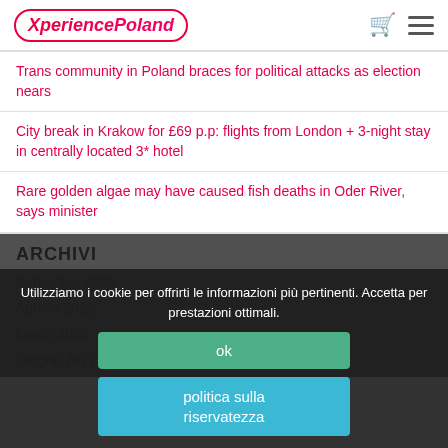XperiencePoland
Trans community in Poland braces for political attacks as election nears
City break in Krakow for £69 p.p: flights from London + 3-night stay in centrally located 3* hotel
Rare golden algae may have caused fish deaths in Oder River, says minister
ARCHIVI
Settembre 2022
Agosto 2022
Luglio 2022
Giugno 2022
Utilizziamo i cookie per offrirti le informazioni più pertinenti. Accetta per prestazioni ottimali.
ok
politica sulla riservatezza